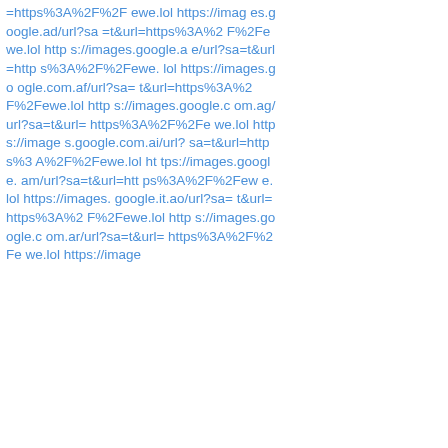=https%3A%2F%2Fewe.lol https://images.google.ad/url?sa=t&url=https%3A%2F%2Fewe.lol https://images.google.ae/url?sa=t&url=https%3A%2F%2Fewe.lol https://images.google.com.af/url?sa=t&url=https%3A%2F%2Fewe.lol https://images.google.com.ag/url?sa=t&url=https%3A%2F%2Fewe.lol https://images.google.com.ai/url?sa=t&url=https%3A%2F%2Fewe.lol https://images.google.am/url?sa=t&url=https%3A%2F%2Fewe.lol https://images.google.it.ao/url?sa=t&url=https%3A%2F%2Fewe.lol https://images.google.com.ar/url?sa=t&url=https%3A%2F%2Fewe.lol https://image